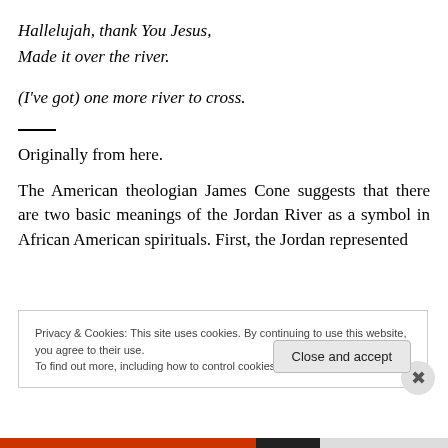Hallelujah, thank You Jesus,
Made it over the river.

(I've got) one more river to cross.
Originally from here.
The American theologian James Cone suggests that there are two basic meanings of the Jordan River as a symbol in African American spirituals. First, the Jordan represented
Privacy & Cookies: This site uses cookies. By continuing to use this website, you agree to their use.
To find out more, including how to control cookies, see here: Cookie Policy
Close and accept